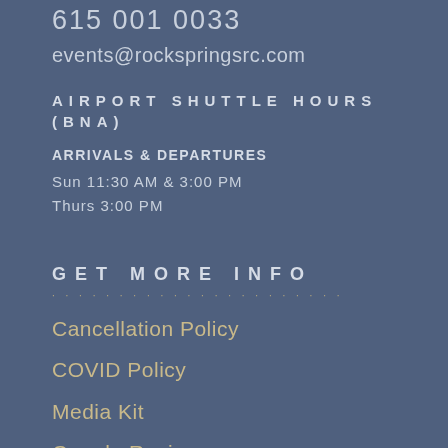615 001 0033
events@rockspringsrc.com
AIRPORT SHUTTLE HOURS (BNA)
ARRIVALS & DEPARTURES
Sun 11:30 AM & 3:00 PM
Thurs 3:00 PM
GET MORE INFO
Cancellation Policy
COVID Policy
Media Kit
Google Reviews
Press Contact
Fitness & Weight Loss FAQs